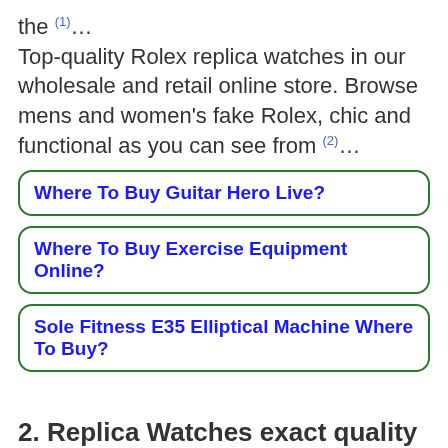the (1)... Top-quality Rolex replica watches in our wholesale and retail online store. Browse mens and women's fake Rolex, chic and functional as you can see from (2)...
Where To Buy Guitar Hero Live?
Where To Buy Exercise Equipment Online?
Sole Fitness E35 Elliptical Machine Where To Buy?
2. Replica Watches exact quality